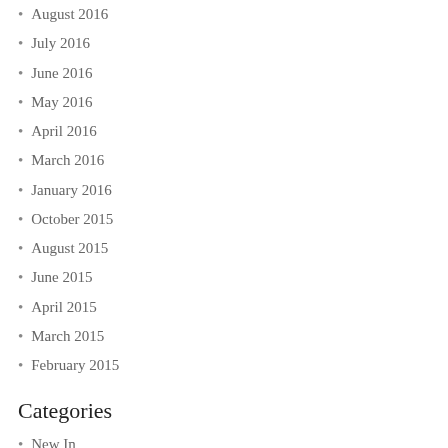August 2016
July 2016
June 2016
May 2016
April 2016
March 2016
January 2016
October 2015
August 2015
June 2015
April 2015
March 2015
February 2015
Categories
New In